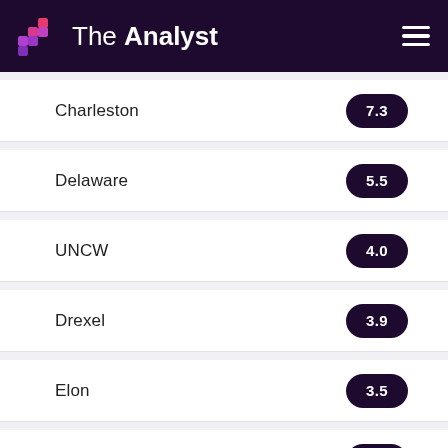The Analyst
| Team | Score |
| --- | --- |
| Charleston | 7.3 |
| Delaware | 5.5 |
| UNCW | 4.0 |
| Drexel | 3.9 |
| Elon | 3.5 |
| Northeastern | 0.6 |